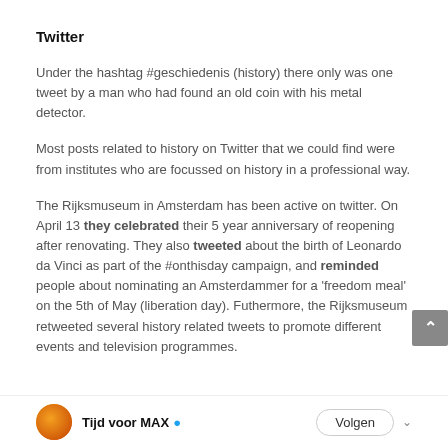Twitter
Under the hashtag #geschiedenis (history) there only was one tweet by a man who had found an old coin with his metal detector.
Most posts related to history on Twitter that we could find were from institutes who are focussed on history in a professional way.
The Rijksmuseum in Amsterdam has been active on twitter. On April 13 they celebrated their 5 year anniversary of reopening after renovating. They also tweeted about the birth of Leonardo da Vinci as part of the #onthisday campaign, and reminded people about nominating an Amsterdammer for a ‘freedom meal’ on the 5th of May (liberation day). Futhermore, the Rijksmuseum retweeted several history related tweets to promote different events and television programmes.
[Figure (screenshot): Partial tweet preview showing Tijd voor MAX account with verified badge and Volgen (Follow) button]